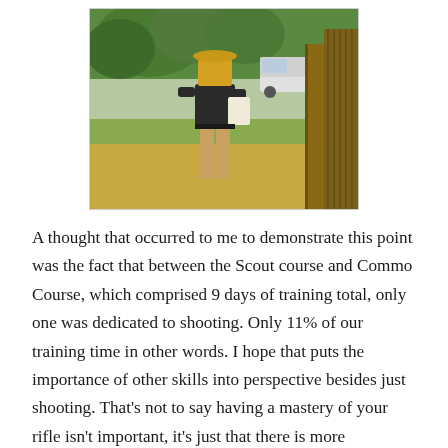[Figure (photo): A person standing outdoors near a wooden post and fence structure, with trees in the background and a white truck visible. The person's face is obscured by a yellow/orange rectangle. They are wearing a dark shirt and tan pants, holding something white. Grassy terrain surrounds them.]
A thought that occurred to me to demonstrate this point was the fact that between the Scout course and Commo Course, which comprised 9 days of training total, only one was dedicated to shooting. Only 11% of our training time in other words. I hope that puts the importance of other skills into perspective besides just shooting. That's not to say having a mastery of your rifle isn't important, it's just that there is more